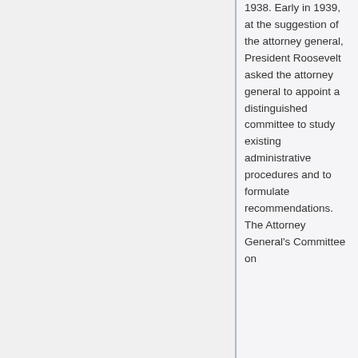1938. Early in 1939, at the suggestion of the attorney general, President Roosevelt asked the attorney general to appoint a distinguished committee to study existing administrative procedures and to formulate recommendations. The Attorney General's Committee on